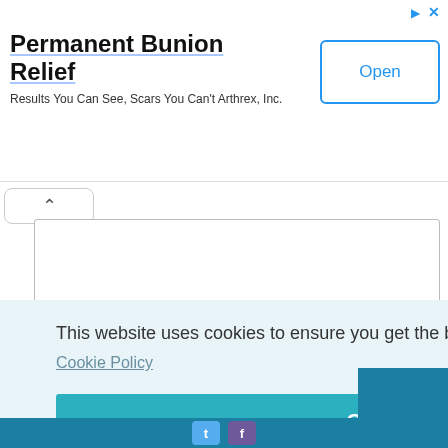[Figure (screenshot): Advertisement banner for Permanent Bunion Relief by Arthrex Inc with Open button]
Permanent Bunion Relief
Results You Can See, Scars You Can't Arthrex, Inc.
[Figure (screenshot): Collapsed textarea input box with chevron up button]
This website uses cookies to ensure you get the best experience on our website.
Cookie Policy
Got it!